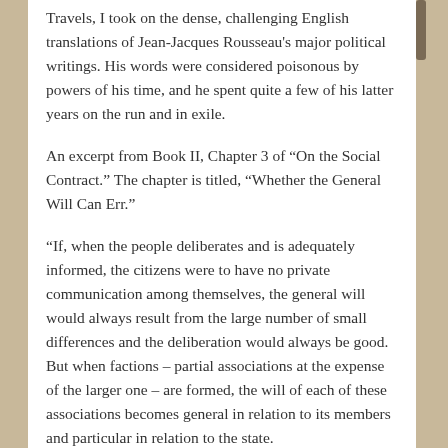Travels, I took on the dense, challenging English translations of Jean-Jacques Rousseau's major political writings. His words were considered poisonous by powers of his time, and he spent quite a few of his latter years on the run and in exile.
An excerpt from Book II, Chapter 3 of “On the Social Contract.” The chapter is titled, “Whether the General Will Can Err.”
“If, when the people deliberates and is adequately informed, the citizens were to have no private communication among themselves, the general will would always result from the large number of small differences and the deliberation would always be good. But when factions – partial associations at the expense of the larger one – are formed, the will of each of these associations becomes general in relation to its members and particular in relation to the state.